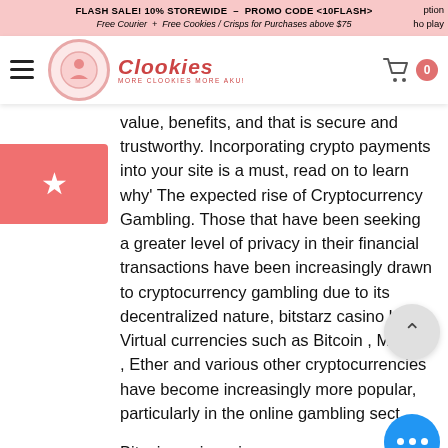FLASH SALE! 10% STOREWIDE – PROMO CODE <10FLASH>
Free Courier + Free Cookies / Crisps for Purchases above $75
[Figure (logo): Clookies logo with shopping cart icon showing badge 0]
value, benefits, and that is secure and trustworthy. Incorporating crypto payments into your site is a must, read on to learn why' The expected rise of Cryptocurrency Gambling. Those that have been seeking a greater level of privacy in their financial transactions have been increasingly drawn to cryptocurrency gambling due to its decentralized nature, bitstarz casino login. Virtual currencies such as Bitcoin , Monero , Ether and various other cryptocurrencies have become increasingly more popular, particularly in the online gambling sect
Bitcoin casino winners:
Eagles Wings - 717.8 btc
Babushkas - 493.2 btc
Golden Ticket - 615 ltc